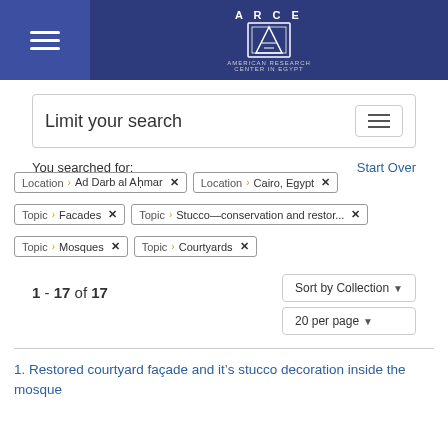ARCE - American Research Center in Egypt
Limit your search
You searched for:
Start Over
Location > Ad Darb al Ahmar  ✕
Location > Cairo, Egypt  ✕
Topic > Facades  ✕
Topic > Stucco--conservation and restor...  ✕
Topic > Mosques  ✕
Topic > Courtyards  ✕
1 - 17 of 17
Sort by Collection ▾
20 per page ▾
1. Restored courtyard façade and it's stucco decoration inside the mosque